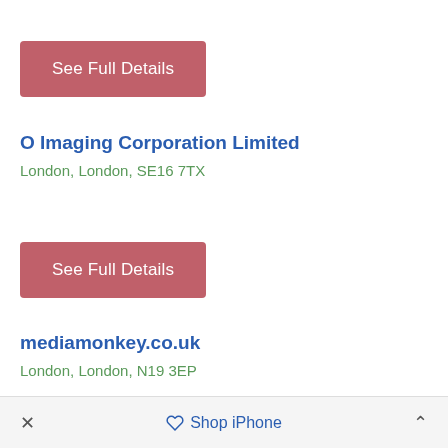See Full Details
O Imaging Corporation Limited
London, London, SE16 7TX
See Full Details
mediamonkey.co.uk
London, London, N19 3EP
× Shop iPhone ^